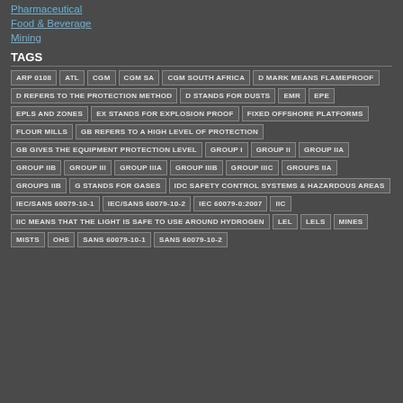Pharmaceutical
Food & Beverage
Mining
TAGS
ARP 0108, ATL, CGM, CGM SA, CGM SOUTH AFRICA, D MARK MEANS FLAMEPROOF, D REFERS TO THE PROTECTION METHOD, D STANDS FOR DUSTS, EMR, EPE, EPLS AND ZONES, EX STANDS FOR EXPLOSION PROOF, FIXED OFFSHORE PLATFORMS, FLOUR MILLS, GB REFERS TO A HIGH LEVEL OF PROTECTION, GB GIVES THE EQUIPMENT PROTECTION LEVEL, GROUP I, GROUP II, GROUP IIA, GROUP IIB, GROUP III, GROUP IIIA, GROUP IIIB, GROUP IIIC, GROUPS IIA, GROUPS IIB, G STANDS FOR GASES, IDC SAFETY CONTROL SYSTEMS & HAZARDOUS AREAS, IEC/SANS 60079-10-1, IEC/SANS 60079-10-2, IEC 60079-0:2007, IIC, IIC MEANS THAT THE LIGHT IS SAFE TO USE AROUND HYDROGEN, LEL, LELS, MINES, MISTS, OHS, SANS 60079-10-1, SANS 60079-10-2